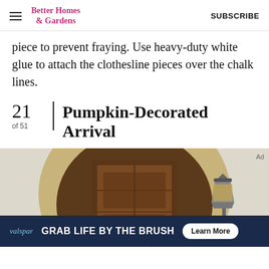Better Homes & Gardens | SUBSCRIBE
piece to prevent fraying. Use heavy-duty white glue to attach the clothesline pieces over the chalk lines.
21 of 51 | Pumpkin-Decorated Arrival
[Figure (photo): Arched wooden front door set in a stucco wall with a lantern on the right side]
Ad | valspar GRAB LIFE BY THE BRUSH Learn More